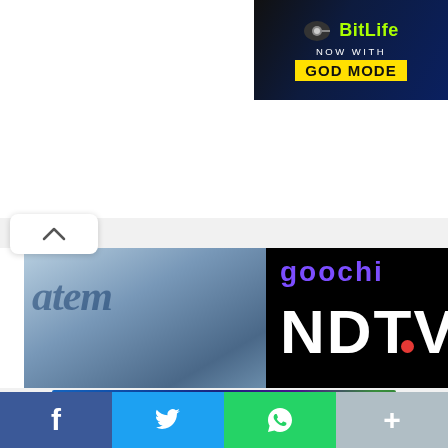[Figure (screenshot): BitLife advertisement banner: dark blue background with BitLife logo in yellow-green and 'NOW WITH GOD MODE' text]
[Figure (photo): Three news article thumbnail images: left shows keyboard/statement, center shows NDTV logo on black background, right shows person in suit]
BUTE TO MY
ADANI GROUP ON NDTV OPEN OFFER – "TIMELINES MAYBE REVISED"
THOMAS BABYCHAN × SEPTEMBER 2, 2022
FIN
TEC
[Figure (photo): Bottom banner showing coins on dark blue/purple background]
[Figure (infographic): Social share bar with Facebook (blue), Twitter (light blue), WhatsApp (green), and More (gray) buttons]